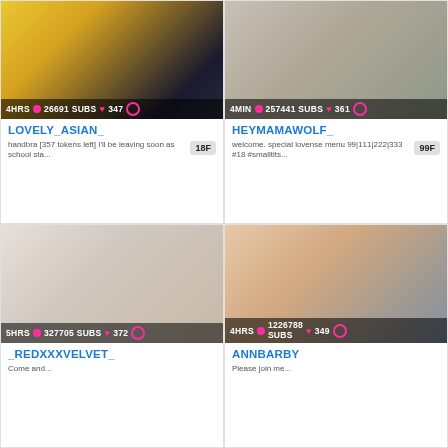[Figure (photo): Two young women posing, one in yellow top, one in white]
4HRS 26691 SUBS 347
LOVELY_ASIAN_
handbra [357 tokens left] I'll be leaving soon as school sta...
18F
[Figure (photo): Young woman with arms raised in a room]
4MIN 257441 SUBS 361
HEYMAMAWOLF_
welcome. special lovense menu 99|111|222|333 #18 #smalltits...
99F
[Figure (photo): Blonde woman in white robe on bed]
5HRS 327705 SUBS 372
_REDXXXVELVET_
[Figure (photo): Blonde woman on bed showing back]
4HRS 1226788 SUBS 349
ANNBARBY